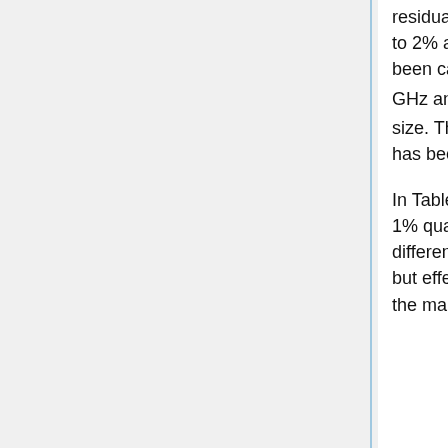residual 1/f noise in the final maps, which ranges from 0.06% at 70 GHz to 2% at 30 GHz. Pixel uncertainties due to other systematic effects have been calculated on simulated maps degraded at N_side = 128 at 30 and 44 GHz and N_side = 256 at 70 GHz in order to approximate the optical beam size. This downgrading has been applied in all cases a systematic effect has been evaluated at map level.
In Table 2 we list the r.m.s. and the difference between the 99% and the 1% quantities in the pixel value distributions. For simplicity we refer to this difference as peak-to-peak (p-p) difference although it neglects outliers but effectively approximates the peak-to-peak variation of the effect on the map. The last row in Table 2 reports the r.m.s.